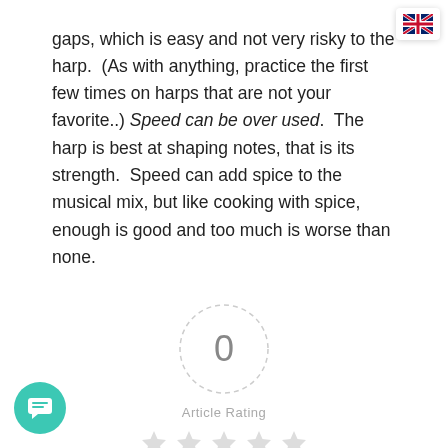gaps, which is easy and not very risky to the harp.  (As with anything, practice the first few times on harps that are not your favorite..) Speed can be over used.  The harp is best at shaping notes, that is its strength.  Speed can add spice to the musical mix, but like cooking with spice, enough is good and too much is worse than none.
[Figure (other): A dashed circle with the number 0 inside it, labeled 'Article Rating' below, with five empty/light gray star icons beneath the label.]
Related
How to Clean a
The Harp Reference: